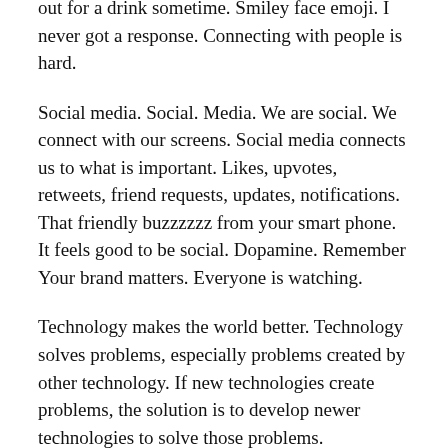out for a drink sometime. Smiley face emoji. I never got a response. Connecting with people is hard.
Social media. Social. Media. We are social. We connect with our screens. Social media connects us to what is important. Likes, upvotes, retweets, friend requests, updates, notifications. That friendly buzzzzzz from your smart phone. It feels good to be social. Dopamine. Remember Your brand matters. Everyone is watching.
Technology makes the world better. Technology solves problems, especially problems created by other technology. If new technologies create problems, the solution is to develop newer technologies to solve those problems. Technology and progress are the same thing. Technology helps the economy grow. When technology makes human beings obsolete, that is progress.